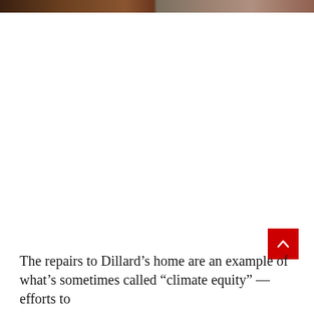[Figure (photo): Partial view of a photo strip at the top of the page showing two side-by-side images, cropped at bottom edge]
[Figure (other): Red back-to-top button with white upward chevron arrow in the lower right area]
The repairs to Dillard’s home are an example of what’s sometimes called “climate equity” — efforts to